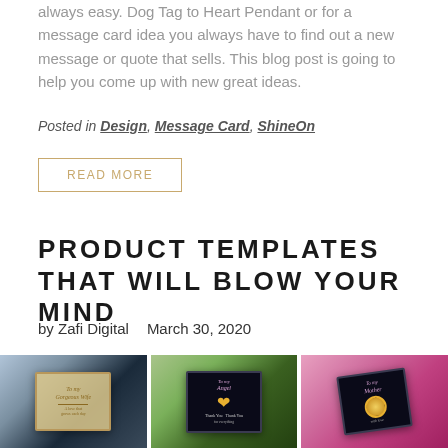always easy. Dog Tag to Heart Pendant or for a message card idea you always have to find out a new message or quote that sells. This blog post is going to help you come up with new great ideas.
Posted in Design, Message Card, ShineOn
READ MORE
PRODUCT TEMPLATES THAT WILL BLOW YOUR MIND
by Zafi Digital   March 30, 2020
[Figure (photo): Three product images showing jewelry gift boxes with message cards: a warm-toned gold card box held in hands, a dark card with heart necklace on green background, and a dark card with necklace on pink glittery background.]